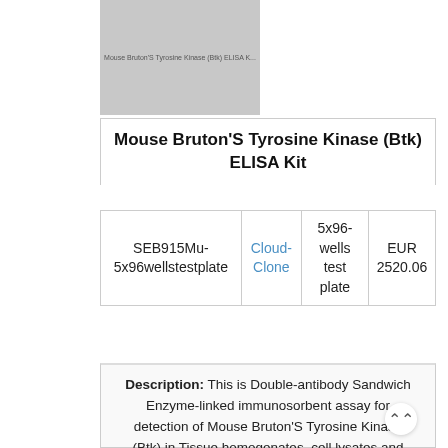[Figure (other): Product image placeholder showing Mouse Bruton's Tyrosine Kinase (Btk) ELISA Kit]
Mouse Bruton'S Tyrosine Kinase (Btk) ELISA Kit
| Catalog No. | Brand | Size | Price |
| --- | --- | --- | --- |
| SEB915Mu-5x96wellstestplate | Cloud-Clone | 5x96-wells test plate | EUR 2520.06 |
Description: This is Double-antibody Sandwich Enzyme-linked immunosorbent assay for detection of Mouse Bruton'S Tyrosine Kinase (Btk) in Tissue homogenates, cell lysates and other biological fluids.